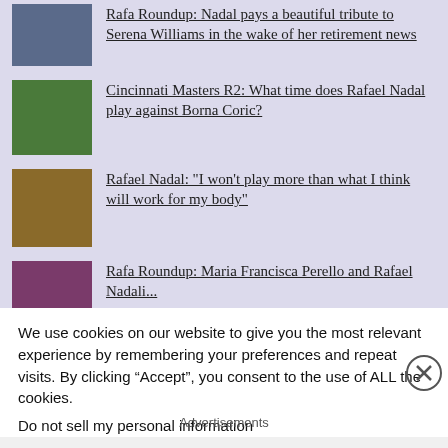Rafa Roundup: Nadal pays a beautiful tribute to Serena Williams in the wake of her retirement news
Cincinnati Masters R2: What time does Rafael Nadal play against Borna Coric?
Rafael Nadal: "I won't play more than what I think will work for my body"
Rafa Roundup: Maria Francisca Perello and Rafael Nadal...
We use cookies on our website to give you the most relevant experience by remembering your preferences and repeat visits. By clicking “Accept”, you consent to the use of ALL the cookies.
Do not sell my personal information
Advertisements